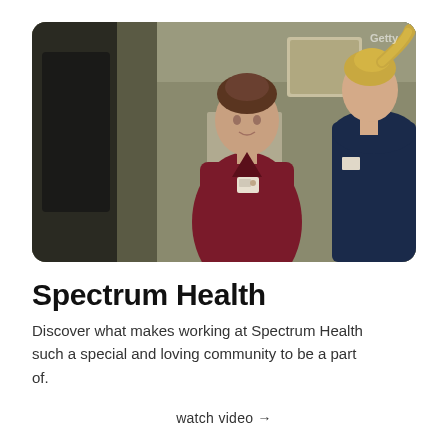[Figure (photo): Two healthcare workers in scrubs having a conversation in a hospital hallway. One is wearing dark red/maroon scrubs with a badge, facing forward; the other is in navy scrubs, seen from behind/side.]
Spectrum Health
Discover what makes working at Spectrum Health such a special and loving community to be a part of.
watch video →